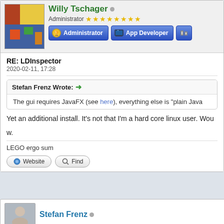Willy Tschager
Administrator ★★★★★★★★
[Figure (other): Administrator badge and App Developer badge buttons]
RE: LDInspector
2020-02-11, 17:28
Stefan Frenz Wrote: → The gui requires JavaFX (see here), everything else is "plain Java..."
Yet an additional install. It's not that I'm a hard core linux user. Wou...
w.
LEGO ergo sum
Website   Find
Stefan Frenz